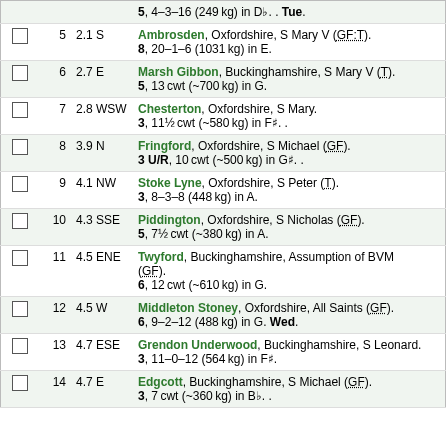|  | # | Dist | Info |
| --- | --- | --- | --- |
|  |  |  | 5, 4–3–16 (249 kg) in D♭. . Tue. |
| ☐ | 5 | 2.1 S | Ambrosden, Oxfordshire, S Mary V (GF:T). 8, 20–1–6 (1031 kg) in E. |
| ☐ | 6 | 2.7 E | Marsh Gibbon, Buckinghamshire, S Mary V (T). 5, 13 cwt (~700 kg) in G. |
| ☐ | 7 | 2.8 WSW | Chesterton, Oxfordshire, S Mary. 3, 11½ cwt (~580 kg) in F♯. . |
| ☐ | 8 | 3.9 N | Fringford, Oxfordshire, S Michael (GF). 3 U/R, 10 cwt (~500 kg) in G♯. . |
| ☐ | 9 | 4.1 NW | Stoke Lyne, Oxfordshire, S Peter (T). 3, 8–3–8 (448 kg) in A. |
| ☐ | 10 | 4.3 SSE | Piddington, Oxfordshire, S Nicholas (GF). 5, 7½ cwt (~380 kg) in A. |
| ☐ | 11 | 4.5 ENE | Twyford, Buckinghamshire, Assumption of BVM (GF). 6, 12 cwt (~610 kg) in G. |
| ☐ | 12 | 4.5 W | Middleton Stoney, Oxfordshire, All Saints (GF). 6, 9–2–12 (488 kg) in G. Wed. |
| ☐ | 13 | 4.7 ESE | Grendon Underwood, Buckinghamshire, S Leonard. 3, 11–0–12 (564 kg) in F♯. |
| ☐ | 14 | 4.7 E | Edgcott, Buckinghamshire, S Michael (GF). 3, 7 cwt (~360 kg) in B♭. . |